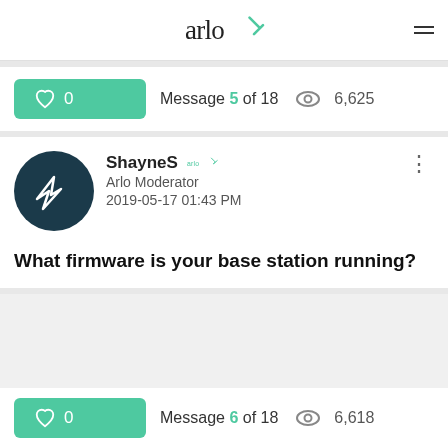arlo
Message 5 of 18  6,625
ShayneS  Arlo Moderator  2019-05-17 01:43 PM
What firmware is your base station running?
Message 6 of 18  6,618